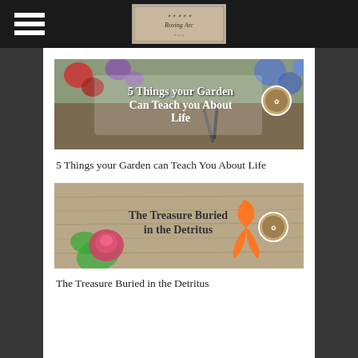Navigation menu and site logo header
[Figure (photo): Blog post thumbnail image with text overlay reading '5 Things your Garden Can Teach you About Life' on a floral background with garden tools]
5 Things your Garden can Teach You About Life
[Figure (photo): Blog post thumbnail image with text overlay reading 'The Treasure Buried in the Detritus' on a wooden background with a rose and orange awareness ribbon]
The Treasure Buried in the Detritus